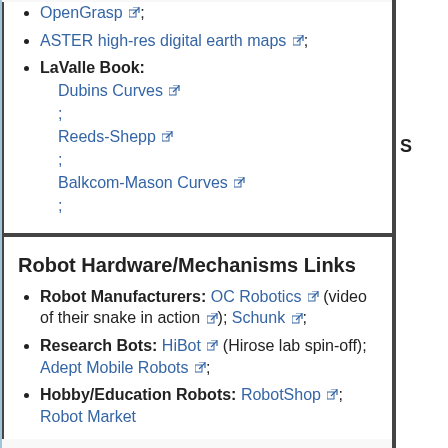OpenGrasp;
ASTER high-res digital earth maps;
LaValle Book: Dubins Curves; Reeds-Shepp; Balkcom-Mason Curves;
Robot Hardware/Mechanisms Links
Robot Manufacturers: OC Robotics (video of their snake in action); Schunk;
Research Bots: HiBot (Hirose lab spin-off); Adept Mobile Robots;
Hobby/Education Robots: RobotShop; Robot Market